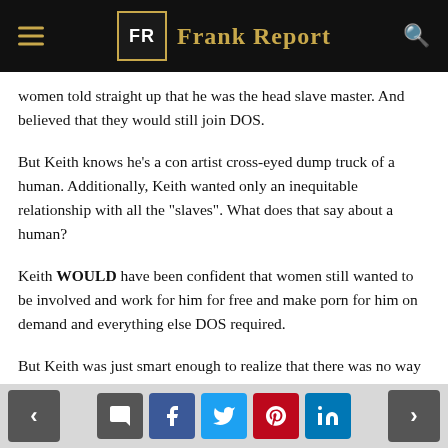Frank Report
women told straight up that he was the head slave master. And believed that they would still join DOS.
But Keith knows he’s a con artist cross-eyed dump truck of a human. Additionally, Keith wanted only an inequitable relationship with all the “slaves”. What does that say about a human?
Keith WOULD have been confident that women still wanted to be involved and work for him for free and make porn for him on demand and everything else DOS required.
But Keith was just smart enough to realize that there was no way in hell most of these women